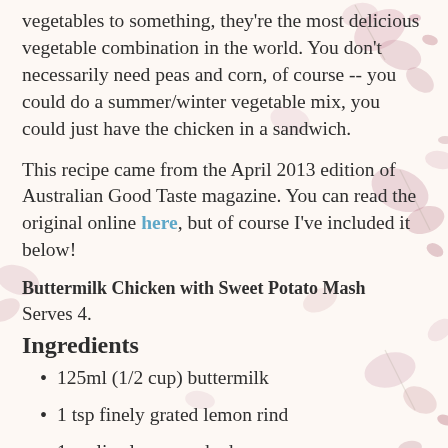vegetables to something, they're the most delicious vegetable combination in the world. You don't necessarily need peas and corn, of course -- you could do a summer/winter vegetable mix, you could just have the chicken in a sandwich.
This recipe came from the April 2013 edition of Australian Good Taste magazine. You can read the original online here, but of course I've included it below!
Buttermilk Chicken with Sweet Potato Mash
Serves 4.
Ingredients
125ml (1/2 cup) buttermilk
1 tsp finely grated lemon rind
1 garlic clove, crushed
8 (about 500g) chicken tenderloins
700g sweet potato, peeled, coarsely chopped
60g (1 cup) panko broadcrumbs